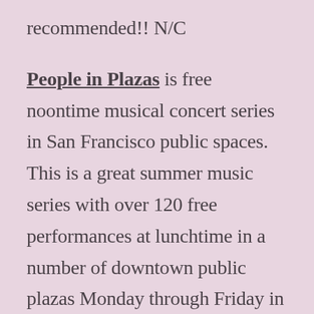recommended!! N/C
People in Plazas is free noontime musical concert series in San Francisco public spaces. This is a great summer music series with over 120 free performances at lunchtime in a number of downtown public plazas Monday through Friday in July, August and September. Today's noontime concert series lineup includes west coast blues